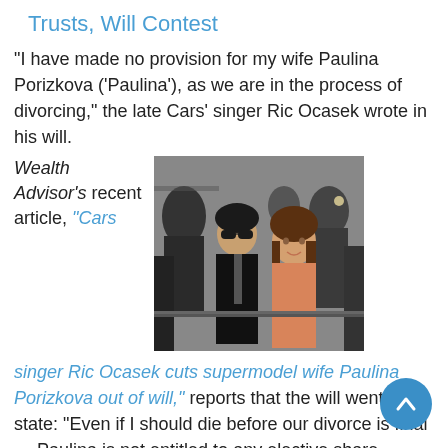Trusts, Will Contest
“I have made no provision for my wife Paulina Porizkova (‘Paulina’), as we are in the process of divorcing,” the late Cars’ singer Ric Ocasek wrote in his will.
Wealth Advisor’s recent article,
[Figure (photo): Photo of Ric Ocasek and Paulina Porizkova at a public event, surrounded by photographers]
“Cars singer Ric Ocasek cuts supermodel wife Paulina Porizkova out of will,” reports that the will went on to state: “Even if I should die before our divorce is final … Paulina is not entitled to any elective share …